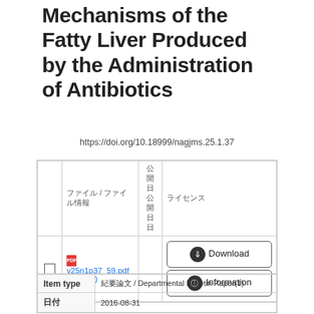Mechanisms of the Fatty Liver Produced by the Administration of Antibiotics
https://doi.org/10.18999/nagjms.25.1.37
|  | ファイル / ファイル情報 | 公開日公開日日 | ライセンス |
| --- | --- | --- | --- |
| ☐ | 📄 v25n1p37_59.pdf (3.6 MB) |  | Download / Information |
| Item type | 紀要論文 / Departmental Bulletin Paper(1) |
| --- | --- |
| 日付 | 2016-08-31 |